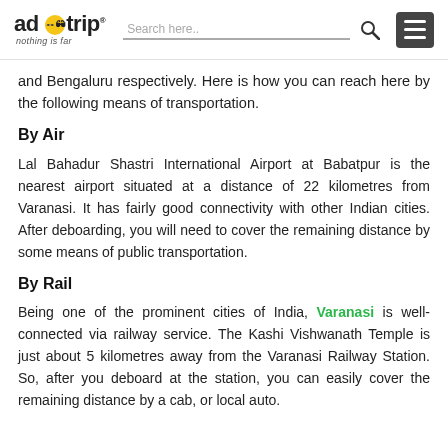adotrip — nothing is far | Search here.. [search icon] [menu button]
and Bengaluru respectively. Here is how you can reach here by the following means of transportation.
By Air
Lal Bahadur Shastri International Airport at Babatpur is the nearest airport situated at a distance of 22 kilometres from Varanasi. It has fairly good connectivity with other Indian cities. After deboarding, you will need to cover the remaining distance by some means of public transportation.
By Rail
Being one of the prominent cities of India, Varanasi is well-connected via railway service. The Kashi Vishwanath Temple is just about 5 kilometres away from the Varanasi Railway Station. So, after you deboard at the station, you can easily cover the remaining distance by a cab, or local auto.